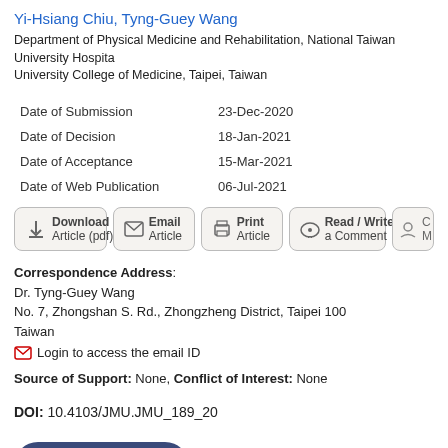Yi-Hsiang Chiu, Tyng-Guey Wang
Department of Physical Medicine and Rehabilitation, National Taiwan University Hospital, National Taiwan University College of Medicine, Taipei, Taiwan
| Field | Value |
| --- | --- |
| Date of Submission | 23-Dec-2020 |
| Date of Decision | 18-Jan-2021 |
| Date of Acceptance | 15-Mar-2021 |
| Date of Web Publication | 06-Jul-2021 |
[Figure (other): Action buttons row: Download Article (pdf), Email Article, Print Article, Read/Write a Comment, (partially visible button)]
Correspondence Address:
Dr. Tyng-Guey Wang
No. 7, Zhongshan S. Rd., Zhongzheng District, Taipei 100
Taiwan
[email icon] Login to access the email ID
Source of Support: None, Conflict of Interest: None
DOI: 10.4103/JMU.JMU_189_20
[Figure (other): Get Permissions for commercial use button (dark blue rounded button with copyright icon)]
How to cite this article:
Chiu YH, Wang TG. A 72-year-old man with bilateral posterior ankle pain...